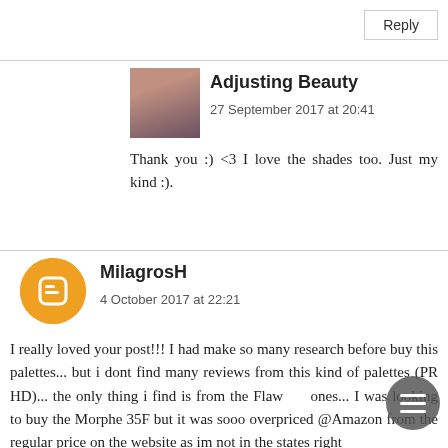Reply
Adjusting Beauty
27 September 2017 at 20:41
Thank you :) <3 I love the shades too. Just my kind :).
MilagrosH
4 October 2017 at 22:21
I really loved your post!!! I had make so many research before buy this palettes... but i dont find many reviews from this kind of palettes (PR HD)... the only thing i find is from the Flawless ones... I was looking to buy the Morphe 35F but it was sooo overpriced @Amazon from the regular price on the website as im not in the states right